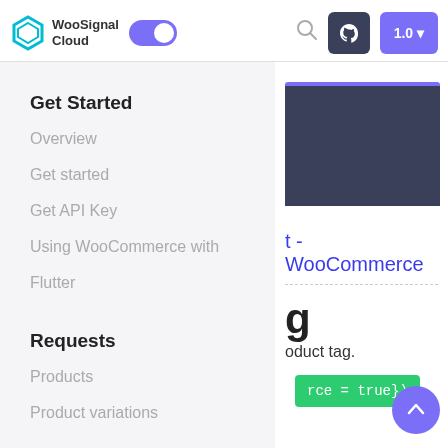WooSignal Cloud — navigation bar with logo, toggle, search, GitHub button, version 1.0
Get Started
Overview
Get started
Get API Key
Using WooCommerce with
Flutter
Requests
Products
Product variations
[Figure (screenshot): Dark navy box with purple top border, partial hero image in content area]
t - WooCommerce
g
oduct tag.
rce = true})